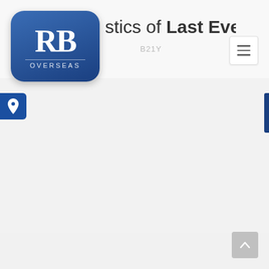[Figure (logo): RB Overseas logo: blue rounded square with white serif letters RB and OVERSEAS subtitle]
stics of Last Event
B21Y
[Figure (other): Hamburger menu button (three horizontal lines)]
[Figure (other): Blue location pin icon box on left side]
[Figure (other): Scroll to top button with upward arrow, grey, bottom right]